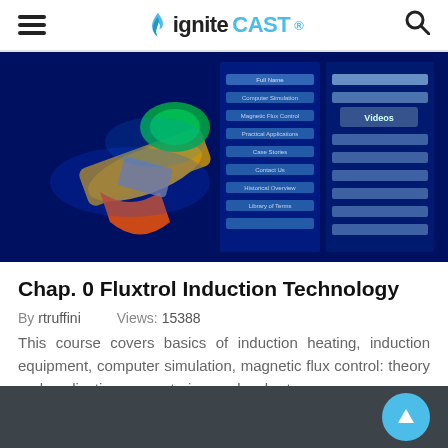igniteCAST®
[Figure (screenshot): Screenshot of the Fluxtrol Induction Technology course interface showing a colorful 3D rendering of induction heating equipment with a navigation menu on the left side listing topics like Computer Simulation, Magnetic Flux Control, etc., and a Videos section on the right.]
Chap. 0 Fluxtrol Induction Technology
By rtruffini    Views: 15388
This course covers basics of induction heating, induction equipment, computer simulation, magnetic flux control: theory and application, case stories, and a short...
First • Previous  1  2  Next • Last